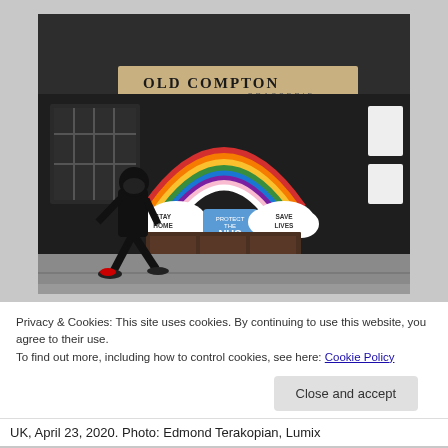[Figure (photo): Photograph of Old Compton Brasserie storefront in the UK. The closed restaurant has a large rainbow mural painted on its dark facade with clouds containing the words 'STAY HOME', 'PROTECT THE NHS', and 'SAVE LIVES'. A person wearing all black and a face mask walks past on the pavement.]
Privacy & Cookies: This site uses cookies. By continuing to use this website, you agree to their use.
To find out more, including how to control cookies, see here: Cookie Policy
Close and accept
UK, April 23, 2020. Photo: Edmond Terakopian, Lumix